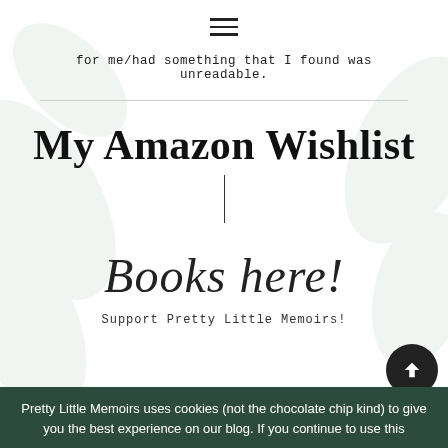≡ (hamburger menu icon)
for me/had something that I found was unreadable.
My Amazon Wishlist
[Figure (illustration): Cursive script text reading 'Books here!']
Support Pretty Little Memoirs!
Pretty Little Memoirs uses cookies (not the chocolate chip kind) to give you the best experience on our blog. If you continue to use this